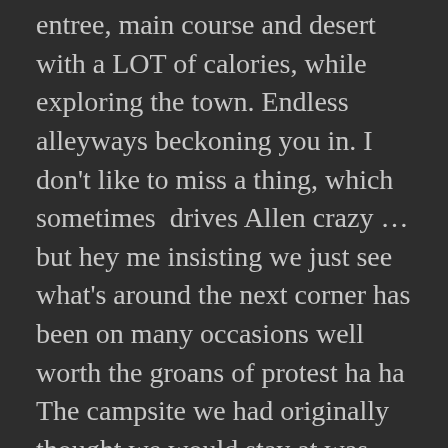entree, main course and desert with a LOT of calories, while exploring the town. Endless alleyways beckoning you in. I don't like to miss a thing, which sometimes  drives Allen crazy … but hey me insisting we just see what's around the next corner has been on many occasions well worth the groans of protest ha ha The campsite we had originally thought we would stay at was only available for one night so we moved on. Very glad we did as we found a lovely place on the edge of yet another of Frances most beautiful villages, seriously, how many can there be?